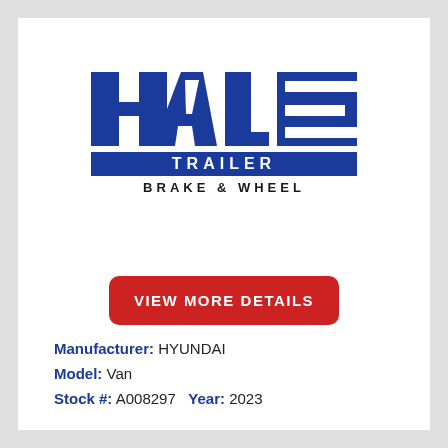[Figure (logo): Hale Trailer Brake & Wheel company logo. Large bold blue block letters spelling HALE, with a blue banner below containing white text TRAILER, and below that black text BRAKE & WHEEL.]
VIEW MORE DETAILS
Manufacturer: HYUNDAI
Model: Van
Stock #: A008297   Year: 2023